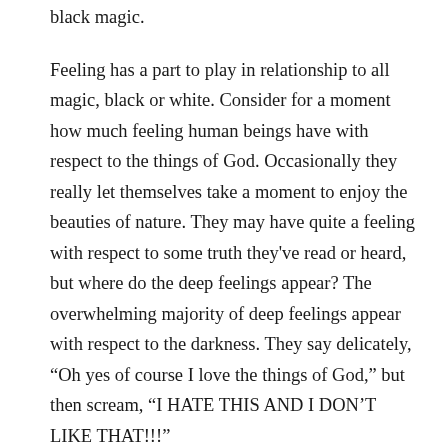black magic.
Feeling has a part to play in relationship to all magic, black or white. Consider for a moment how much feeling human beings have with respect to the things of God. Occasionally they really let themselves take a moment to enjoy the beauties of nature. They may have quite a feeling with respect to some truth they've read or heard, but where do the deep feelings appear? The overwhelming majority of deep feelings appear with respect to the darkness. They say delicately, “Oh yes of course I love the things of God,” but then scream, “I HATE THIS AND I DON’T LIKE THAT!!!”
Where do the deep feelings appear in you? With respect to the right things or the wrong things? If the deep